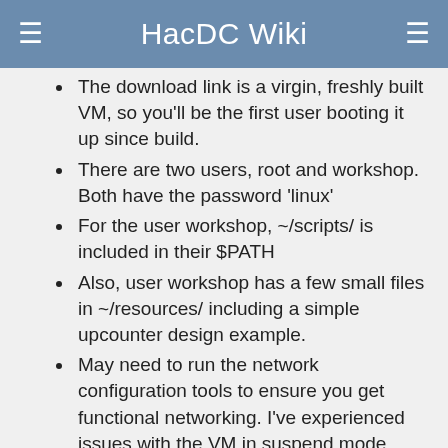HacDC Wiki
The download link is a virgin, freshly built VM, so you'll be the first user booting it up since build.
There are two users, root and workshop. Both have the password 'linux'
For the user workshop, ~/scripts/ is included in their $PATH
Also, user workshop has a few small files in ~/resources/ including a simple upcounter design example.
May need to run the network configuration tools to ensure you get functional networking. I've experienced issues with the VM in suspend mode, switching networks on the host machine, and completely loosing network on the VM until rerunning the network config tools. They can be found poking around in the system settings for yast.